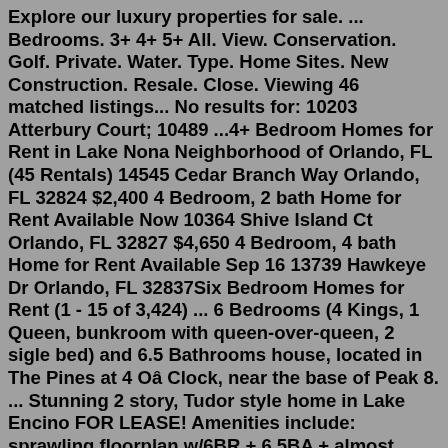Explore our luxury properties for sale. ... Bedrooms. 3+ 4+ 5+ All. View. Conservation. Golf. Private. Water. Type. Home Sites. New Construction. Resale. Close. Viewing 46 matched listings... No results for: 10203 Atterbury Court; 10489 ...4+ Bedroom Homes for Rent in Lake Nona Neighborhood of Orlando, FL (45 Rentals) 14545 Cedar Branch Way Orlando, FL 32824 $2,400 4 Bedroom, 2 bath Home for Rent Available Now 10364 Shive Island Ct Orlando, FL 32827 $4,650 4 Bedroom, 4 bath Home for Rent Available Sep 16 13739 Hawkeye Dr Orlando, FL 32837Six Bedroom Homes for Rent (1 - 15 of 3,424) ... 6 Bedrooms (4 Kings, 1 Queen, bunkroom with queen-over-queen, 2 sigle bed) and 6.5 Bathrooms house, located in The Pines at 4 Oâ Clock, near the base of Peak 8. ... Stunning 2 story, Tudor style home in Lake Encino FOR LEASE! Amenities include: sprawling floorplan w/6BR + 6.5BA + almost 6000 SQF ...Homes for rent in Lake Nona South, a neighborhood in Orlando, Florida, offer the perfect opportunity for maintenance-free living in single-